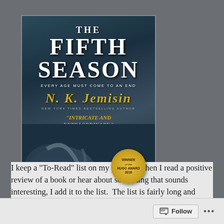[Figure (photo): Book cover of 'The Fifth Season' by N. K. Jemisin. Dark teal/blue background with ornate metallic scroll decoration. Title in large white serif font, author name in gold italic font. Quote 'Intricate and Extraordinary' from New York Times. Gold Hugo Award 2016 winner badge in bottom right.]
I keep a "To-Read" list on my phone.  When I read a positive review of a book or hear about something that sounds interesting, I add it to the list.  The list is fairly long and
Follow ···